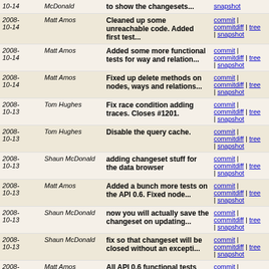| Date | Author | Message | Links |
| --- | --- | --- | --- |
| 2008-10-14 | Matt Amos | Cleaned up some unreachable code. Added first test... | commit | commitdiff | tree | snapshot |
| 2008-10-14 | Matt Amos | Added some more functional tests for way and relation... | commit | commitdiff | tree | snapshot |
| 2008-10-14 | Matt Amos | Fixed up delete methods on nodes, ways and relations... | commit | commitdiff | tree | snapshot |
| 2008-10-13 | Tom Hughes | Fix race condition adding traces. Closes #1201. | commit | commitdiff | tree | snapshot |
| 2008-10-13 | Tom Hughes | Disable the query cache. | commit | commitdiff | tree | snapshot |
| 2008-10-13 | Shaun McDonald | adding changeset stuff for the data browser | commit | commitdiff | tree | snapshot |
| 2008-10-13 | Matt Amos | Added a bunch more tests on the API 0.6. Fixed node... | commit | commitdiff | tree | snapshot |
| 2008-10-13 | Shaun McDonald | now you will actually save the changeset on updating... | commit | commitdiff | tree | snapshot |
| 2008-10-13 | Shaun McDonald | fix so that changeset will be closed without an excepti... | commit | commitdiff | tree | snapshot |
| 2008-10-13 | Matt Amos | All API 0.6 functional tests now pass. | commit | commitdiff | tree | snapshot |
| 2008-10-13 | Matt Amos | Fixed up way controller tests for API 0.6. | commit | commitdiff | tree | snapshot |
| 2008-10-13 | Shaun McDonald | Creating consistency check for creation of nodes, way... | commit | commitdiff | tree | snapshot |
| 2008-10-13 | Matt Amos | Fixed problems with the relations functional tests. | commit | commitdiff | tree | snapshot |